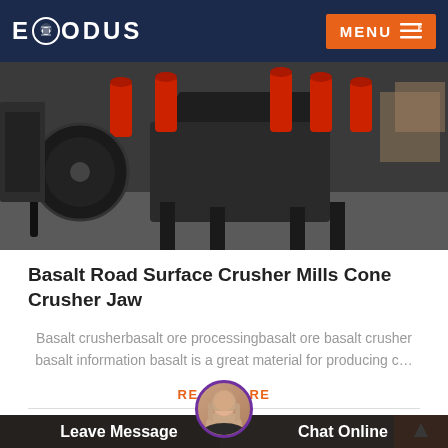EXODUS | MENU
[Figure (photo): Industrial cone crusher machinery with red cylindrical components on a black heavy-duty frame in a manufacturing facility.]
Basalt Road Surface Crusher Mills Cone Crusher Jaw
Basalt crusherbasalt ore processingbasalt ore basalt crusher basalt information basalt is a great material for producing c…
READ MORE
[Figure (photo): Industrial machinery or mining equipment, partially visible at the bottom of the page, with a chat interface overlay showing Leave Message and Chat Online options with a customer service agent avatar.]